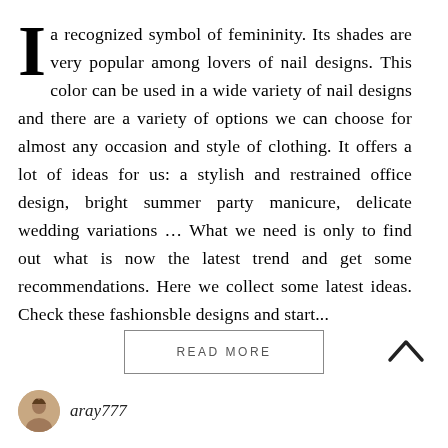a recognized symbol of femininity. Its shades are very popular among lovers of nail designs. This color can be used in a wide variety of nail designs and there are a variety of options we can choose for almost any occasion and style of clothing. It offers a lot of ideas for us: a stylish and restrained office design, bright summer party manicure, delicate wedding variations … What we need is only to find out what is now the latest trend and get some recommendations. Here we collect some latest ideas. Check these fashionsble designs and start...
READ MORE
aray777